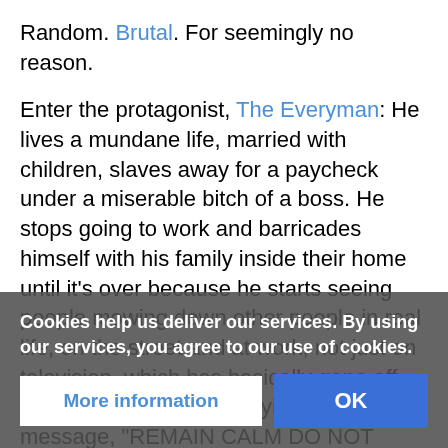Random. Brutal. For seemingly no reason.
Enter the protagonist, The Everyman: He lives a mundane life, married with children, slaves away for a paycheck under a miserable bitch of a boss. He stops going to work and barricades himself with his family inside their home until it's over because he starts seeing people mowing down other people in real life, on the street and at work, not just on television, which has basically gone off the air, and is now displaying the message, "REMAIN CALM DO NOT PANIC TAKE SHELTER WAIT FOR FURTHER INSTRUCTIONS THE SITUATION IS UNDER CONTROL".
Minor Spoilers - It turns out that almost half the people ... mentality, and ... kill and those who don't, and ... those who do kill
Cookies help us deliver our services. By using our services, you agree to our use of cookies.